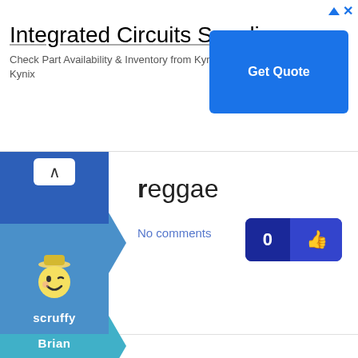[Figure (screenshot): Advertisement banner for 'Integrated Circuits Supplier' from Kynix with a blue 'Get Quote' button]
Integrated Circuits Supplier
Check Part Availability & Inventory from Kynix Kynix
[Figure (screenshot): User profile section showing avatar with username 'scruffy' and a blue arrow pointing right]
reggae
No comments
[Figure (screenshot): Vote button showing count 0 with thumbs up icon]
[Figure (screenshot): User profile section showing avatar with username 'Brian' and a teal arrow pointing right]
Sputter rap and misogynic rap. I like some rap, such as Eminem's parodies and that